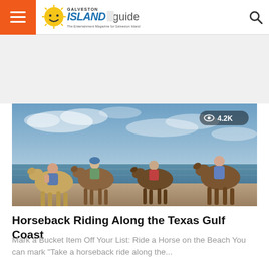Galveston Island Guide — The Entertainment Magazine for Galveston Island
[Figure (photo): Four people riding horses along a beach with ocean and cloudy sky in the background. View count badge showing 4.2K in upper right corner of the image.]
Horseback Riding Along the Texas Gulf Coast
Mark a Bucket Item Off Your List: Ride a Horse on the Beach You can mark "Take a horseback ride along the...